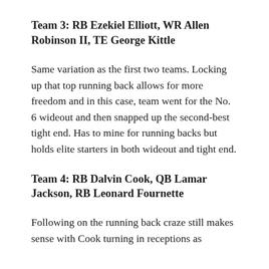Team 3: RB Ezekiel Elliott, WR Allen Robinson II, TE George Kittle
Same variation as the first two teams. Locking up that top running back allows for more freedom and in this case, team went for the No. 6 wideout and then snapped up the second-best tight end. Has to mine for running backs but holds elite starters in both wideout and tight end.
Team 4: RB Dalvin Cook, QB Lamar Jackson, RB Leonard Fournette
Following on the running back craze still makes sense with Cook turning in receptions as